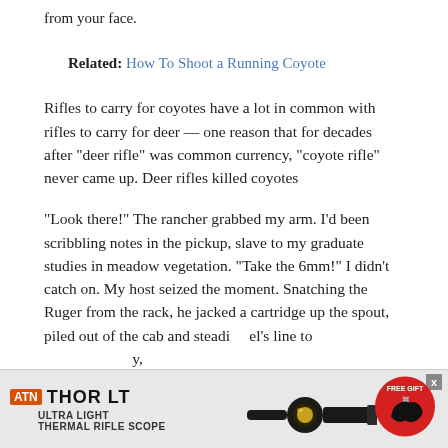from your face.
Related: How To Shoot a Running Coyote
Rifles to carry for coyotes have a lot in common with rifles to carry for deer — one reason that for decades after “deer rifle” was common currency, “coyote rifle” never came up. Deer rifles killed coyotes
“Look there!” The rancher grabbed my arm. I’d been scribbling notes in the pickup, slave to my graduate studies in meadow vegetation. “Take the 6mm!” I didn’t catch on. My host seized the moment. Snatching the Ruger from the rack, he jacked a cartridge up the spout, piled out of the cab and steadi... el’s line to... y,
[Figure (infographic): ATN THOR LT ULTRA LIGHT THERMAL RIFLE SCOPE advertisement banner with scope image and FREE gift badge]